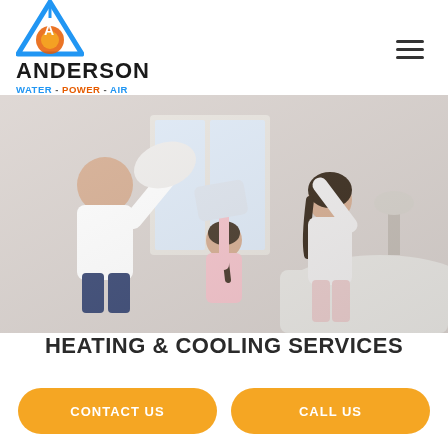[Figure (logo): Anderson Water Power Air logo with triangular water-drop icon in blue and orange, company name ANDERSON in bold black, tagline WATER - POWER - AIR in blue and orange]
[Figure (photo): Family of three (father, mother, young daughter) having a pillow fight in a bright bedroom, all smiling and playful]
HEATING & COOLING SERVICES
CONTACT US
CALL US